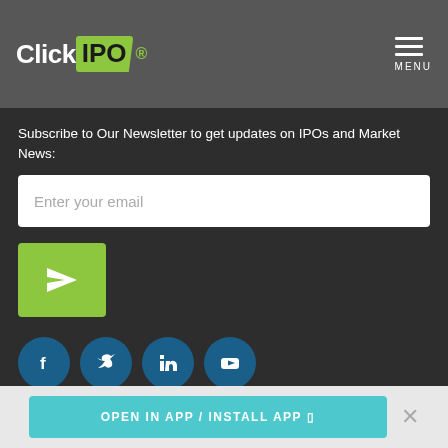ClickIPO — MENU
Subscribe to Our Newsletter to get updates on IPOs and Market News:
[Figure (other): Email input field with placeholder text 'Enter your email']
[Figure (other): Green submit button with send/paper-plane icon]
[Figure (other): Social media icons row: Facebook, Twitter, LinkedIn, YouTube — dark blue circular buttons]
Disclosures
Click IPO Securities, LLC is a broker dealer registered with the SEC, and is a
OPEN IN APP / INSTALL APP